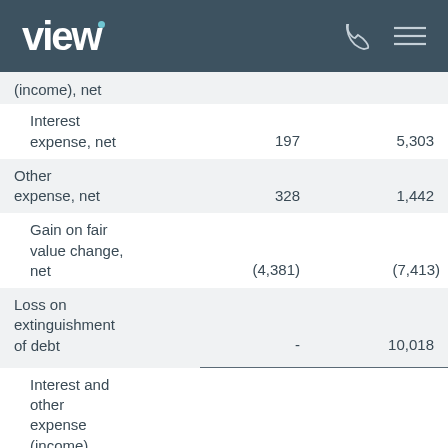view
|  |  |  |
| --- | --- | --- |
| (income), net |  |  |
| Interest expense, net | 197 | 5,303 |
| Other expense, net | 328 | 1,442 |
| Gain on fair value change, net | (4,381) | (7,413) |
| Loss on extinguishment of debt | - | 10,018 |
| Interest and other expense (income), |  |  |